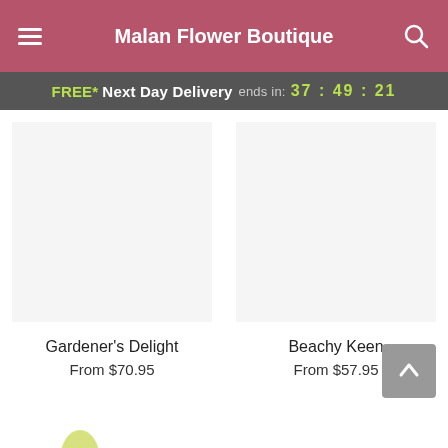Malan Flower Boutique
FREE* Next Day Delivery ends in: 37:49:21
Gardener's Delight
From $70.95
Beachy Keen
From $57.95